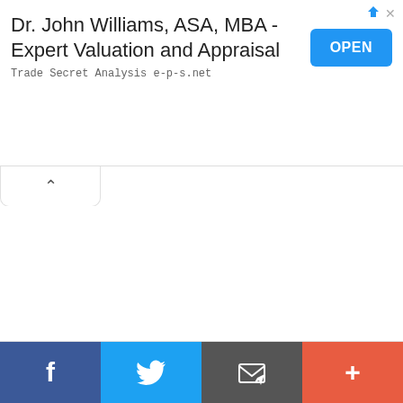[Figure (other): Advertisement banner: Dr. John Williams, ASA, MBA - Expert Valuation and Appraisal. Trade Secret Analysis e-p-s.net. Blue OPEN button on right.]
[Figure (other): Collapse/chevron-up tab below the ad banner]
[Figure (other): Social share bar at bottom with Facebook, Twitter, Email, and More (+) buttons]